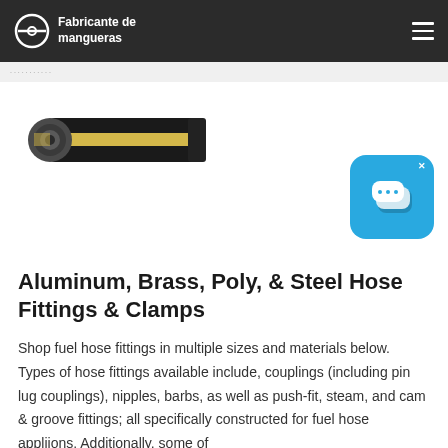Fabricante de mangueras
[Figure (photo): Side view of a black fuel hose with a yellow stripe, showing the cut end with internal layers visible]
[Figure (screenshot): Blue chat widget icon with two speech bubbles and an X close button]
Aluminum, Brass, Poly, & Steel Hose Fittings & Clamps
Shop fuel hose fittings in multiple sizes and materials below. Types of hose fittings available include, couplings (including pin lug couplings), nipples, barbs, as well as push-fit, steam, and cam & groove fittings; all specifically constructed for fuel hose appliions. Additionally, some of